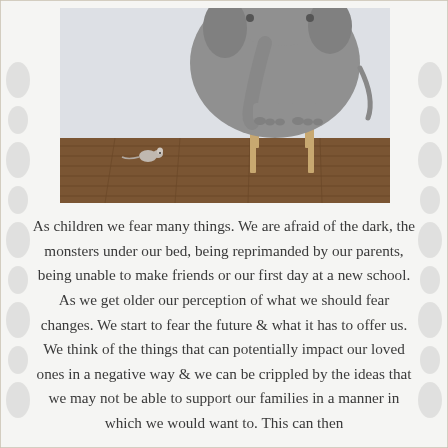[Figure (photo): An elephant standing on a wooden chair in a room with white walls and hardwood floor, with a small mouse visible on the floor nearby.]
As children we fear many things. We are afraid of the dark, the monsters under our bed, being reprimanded by our parents, being unable to make friends or our first day at a new school. As we get older our perception of what we should fear changes. We start to fear the future & what it has to offer us. We think of the things that can potentially impact our loved ones in a negative way & we can be crippled by the ideas that we may not be able to support our families in a manner in which we would want to. This can then